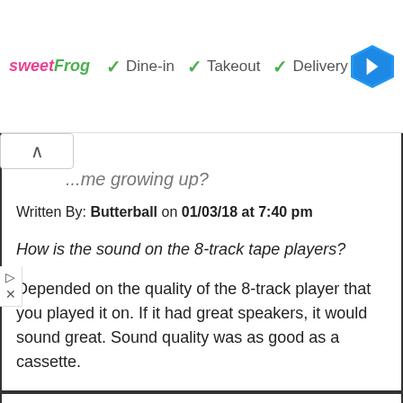[Figure (screenshot): Advertisement banner for sweetFrog with Dine-in, Takeout, Delivery options and a navigation icon]
...me growing up?
Written By: Butterball on 01/03/18 at 7:40 pm
How is the sound on the 8-track tape players?
Depended on the quality of the 8-track player that you played it on. If it had great speakers, it would sound great. Sound quality was as good as a cassette.
Subject: Re: Who had an 8 track player in their home growing up?